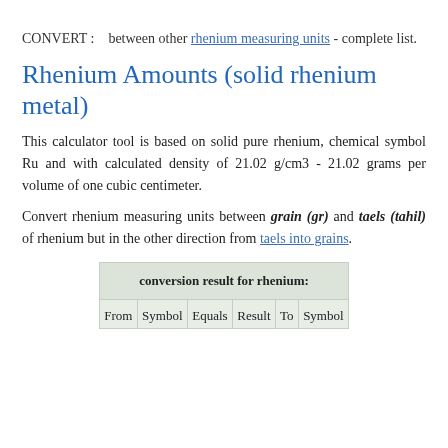CONVERT :   between other rhenium measuring units - complete list.
Rhenium Amounts (solid rhenium metal)
This calculator tool is based on solid pure rhenium, chemical symbol Ru and with calculated density of 21.02 g/cm3 - 21.02 grams per volume of one cubic centimeter.
Convert rhenium measuring units between grain (gr) and taels (tahil) of rhenium but in the other direction from taels into grains.
| From | Symbol | Equals | Result | To | Symbol |
| --- | --- | --- | --- | --- | --- |